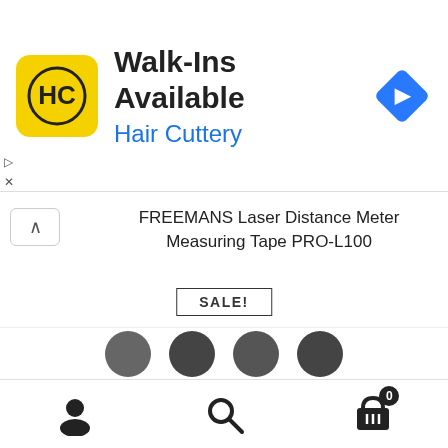[Figure (screenshot): Advertisement banner for Hair Cuttery showing logo, 'Walk-Ins Available' text, and navigation icon]
FREEMANS Laser Distance Meter Measuring Tape PRO-L100
SALE!
₹12,315.00  ₹7,083.00
Read more
[Figure (photo): Product thumbnail images strip at bottom]
Bottom navigation bar with user account, search, and cart icons